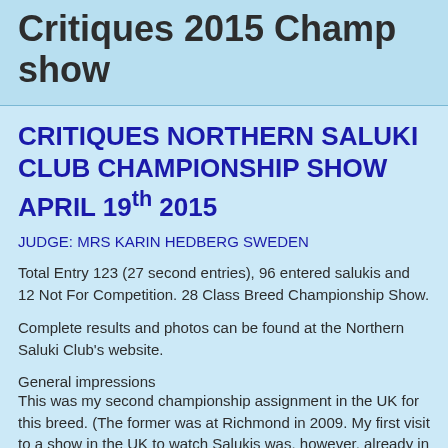Critiques 2015 Champ show
CRITIQUES NORTHERN SALUKI CLUB CHAMPIONSHIP SHOW APRIL 19th 2015
JUDGE: MRS KARIN HEDBERG SWEDEN
Total Entry 123 (27 second entries), 96 entered salukis and 12 Not For Competition. 28 Class Breed Championship Show.
Complete results and photos can be found at the Northern Saluki Club's website.
General impressions
This was my second championship assignment in the UK for this breed. (The former was at Richmond in 2009. My first visit to a show in the UK to watch Salukis was, however, already in